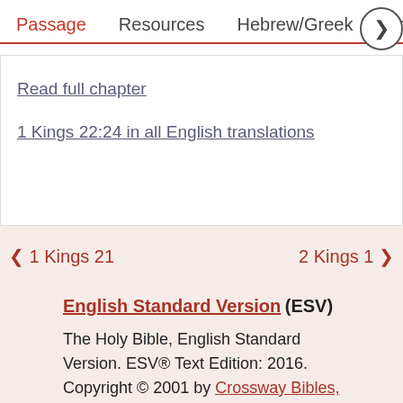Passage  Resources  Hebrew/Greek  Your Cont…
Read full chapter
1 Kings 22:24 in all English translations
< 1 Kings 21    2 Kings 1 >
English Standard Version (ESV)
The Holy Bible, English Standard Version. ESV® Text Edition: 2016. Copyright © 2001 by Crossway Bibles, a publishing ministry of Good News